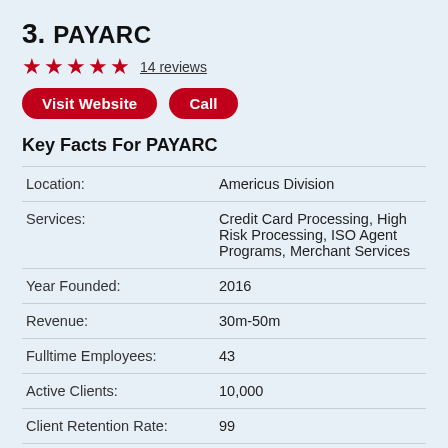3. PAYARC
★★★★★ 14 reviews
Visit Website | Call
Key Facts For PAYARC
|  |  |
| --- | --- |
| Location: | Americus Division |
| Services: | Credit Card Processing, High Risk Processing, ISO Agent Programs, Merchant Services |
| Year Founded: | 2016 |
| Revenue: | 30m-50m |
| Fulltime Employees: | 43 |
| Active Clients: | 10,000 |
| Client Retention Rate: | 99 |
| Pricing: | L |